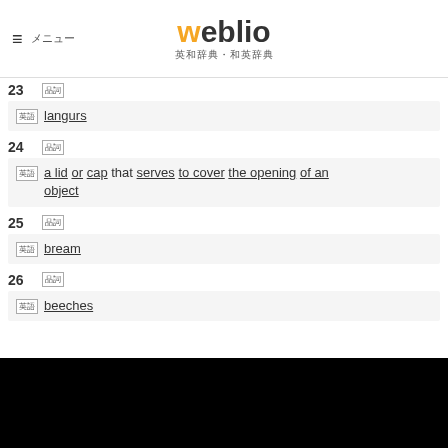weblio
23 [tag] langurs
24 [tag] a lid or cap that serves to cover the opening of an object
25 [tag] bream
26 [tag] beeches